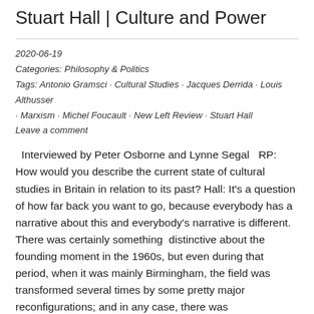Stuart Hall | Culture and Power
2020-06-19
Categories: Philosophy & Politics
Tags: Antonio Gramsci · Cultural Studies · Jacques Derrida · Louis Althusser · Marxism · Michel Foucault · New Left Review · Stuart Hall
Leave a comment
Interviewed by Peter Osborne and Lynne Segal   RP: How would you describe the current state of cultural studies in Britain in relation to its past? Hall: It's a question of how far back you want to go, because everybody has a narrative about this and everybody's narrative is different. There was certainly something  distinctive about the founding moment in the 1960s, but even during that period, when it was mainly Birmingham, the field was transformed several times by some pretty major reconfigurations; and in any case, there was